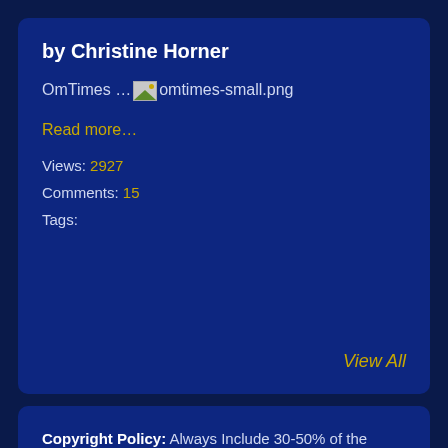by Christine Horner
OmTimes … omtimes-small.png
Read more…
Views: 2927
Comments: 15
Tags:
View All
Copyright Policy: Always Include 30-50% of the source material and a link to the original article. You may not post, modify, distribute, or reproduce in any way any copyrighted material, trademarks, or other proprietary information belonging